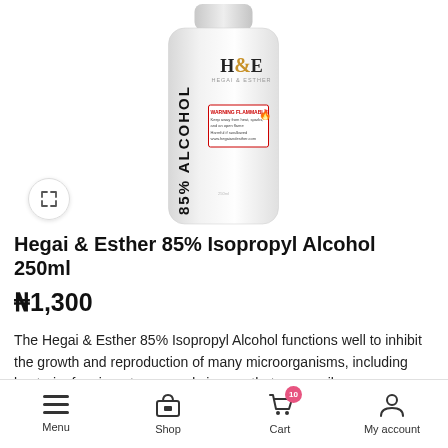[Figure (photo): A white bottle of Hegai & Esther 85% Isopropyl Alcohol 250ml with the brand logo and a flammable warning label on the front. The bottle has a white cap and vertical text reading '85% ALCOHOL'.]
Hegai & Esther 85% Isopropyl Alcohol 250ml
₦1,300
The Hegai & Esther 85% Isopropyl Alcohol functions well to inhibit the growth and reproduction of many microorganisms, including bacteria, fungi, protozoa, and viruses, that can easily grow on
Menu  Shop  Cart (10)  My account